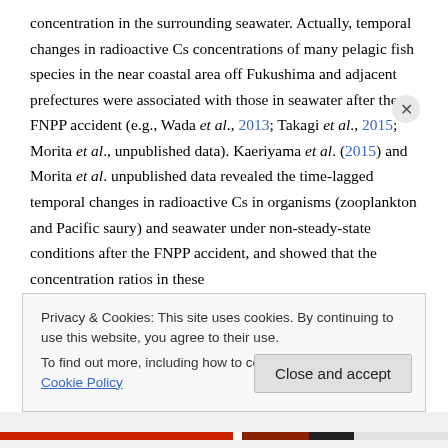concentration in the surrounding seawater. Actually, temporal changes in radioactive Cs concentrations of many pelagic fish species in the near coastal area off Fukushima and adjacent prefectures were associated with those in seawater after the FNPP accident (e.g., Wada et al., 2013; Takagi et al., 2015; Morita et al., unpublished data). Kaeriyama et al. (2015) and Morita et al. unpublished data revealed the time-lagged temporal changes in radioactive Cs in organisms (zooplankton and Pacific saury) and seawater under non-steady-state conditions after the FNPP accident, and showed that the concentration ratios in these
Privacy & Cookies: This site uses cookies. By continuing to use this website, you agree to their use.
To find out more, including how to control cookies, see here: Cookie Policy
Close and accept